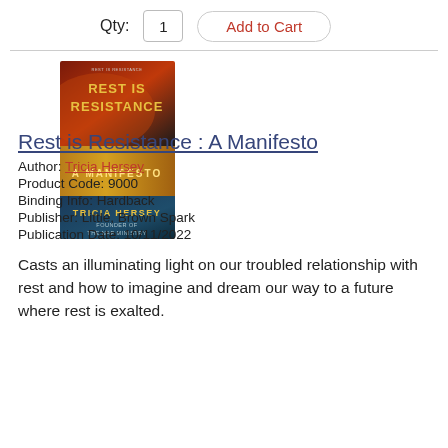Qty: 1   Add to Cart
[Figure (illustration): Book cover of 'Rest is Resistance: A Manifesto' by Tricia Hersey. Dark background with gradient from red/orange at top to gold in middle to teal/dark blue at bottom. Title text in bold yellow letters at top, 'A Manifesto' in gold in the middle section, author name 'Tricia Hersey' and 'Founder of The Nap Ministry' in the bottom section.]
Rest is Resistance : A Manifesto
Author: Tricia Hersey
Product Code: 9000
Binding Info: Hardback
Publisher: Little, Brown Spark
Publication Date: 10/11/2022
Casts an illuminating light on our troubled relationship with rest and how to imagine and dream our way to a future where rest is exalted.